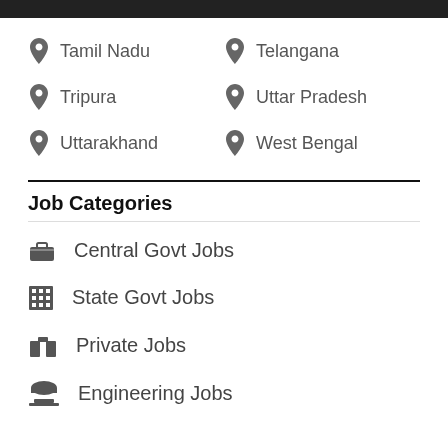Tamil Nadu
Telangana
Tripura
Uttar Pradesh
Uttarakhand
West Bengal
Job Categories
Central Govt Jobs
State Govt Jobs
Private Jobs
Engineering Jobs